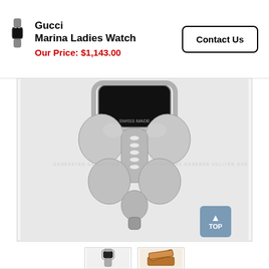[Figure (photo): Small Gucci watch thumbnail icon in header]
Gucci
Marina Ladies Watch
Our Price: $1,143.00
Contact Us
[Figure (photo): Main large product photo of Gucci Marina Ladies Watch, silver metallic watch shown from front close-up with diamond-set crown detail, watermark text visible across image]
[Figure (photo): Thumbnail of Gucci Marina Ladies Watch full view]
[Figure (photo): Thumbnail of Gucci watch wooden gift box]